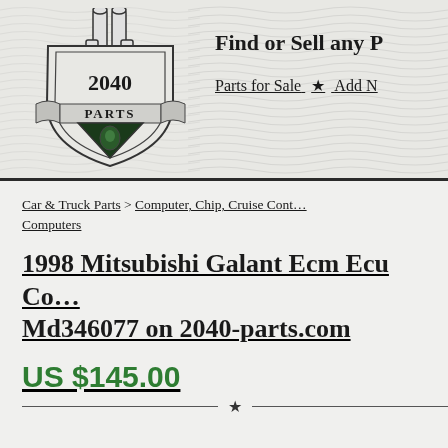[Figure (logo): 2040 Parts logo — shield with wrench/pipe icons and banner reading '2040 PARTS']
Find or Sell any P
Parts for Sale ★ Add N
Car & Truck Parts > Computer, Chip, Cruise Cont… Computers
1998 Mitsubishi Galant Ecm Ecu Co… Md346077 on 2040-parts.com
US $145.00